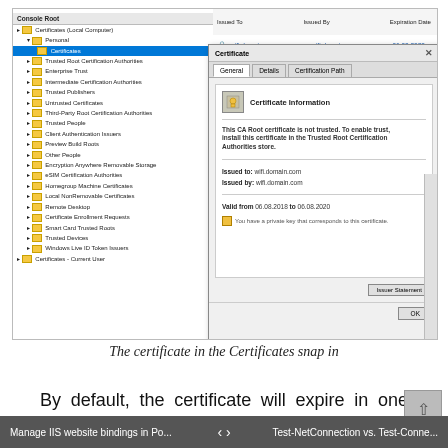[Figure (screenshot): Screenshot of Windows Certificates MMC snap-in showing a certificate tree on the left with Personal > Certificates selected, and a Certificate dialog box open on the right showing certificate information for wifi.domain.com with a warning that the CA Root certificate is not trusted.]
The certificate in the Certificates snap in
By default, the certificate will expire in one year. If you want to specify the certificate expiration, you just have to use the -NotAfter parameter with the New-SelfSignedCertificate cmdlet.
Manage IIS website bindings in Po...   <   >   Test-NetConnection vs. Test-Conne...